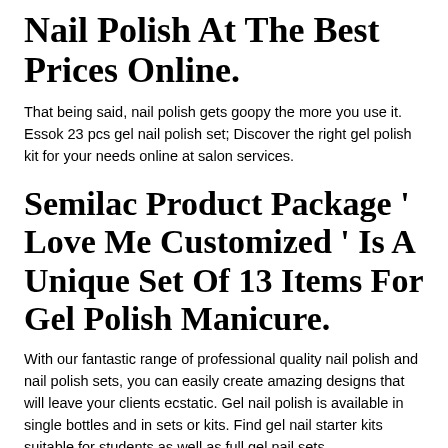Nail Polish At The Best Prices Online.
That being said, nail polish gets goopy the more you use it. Essok 23 pcs gel nail polish set; Discover the right gel polish kit for your needs online at salon services.
Semilac Product Package ' Love Me Customized ' Is A Unique Set Of 13 Items For Gel Polish Manicure.
With our fantastic range of professional quality nail polish and nail polish sets, you can easily create amazing designs that will leave your clients ecstatic. Gel nail polish is available in single bottles and in sets or kits. Find gel nail starter kits suitable for students as well as full gel nail sets